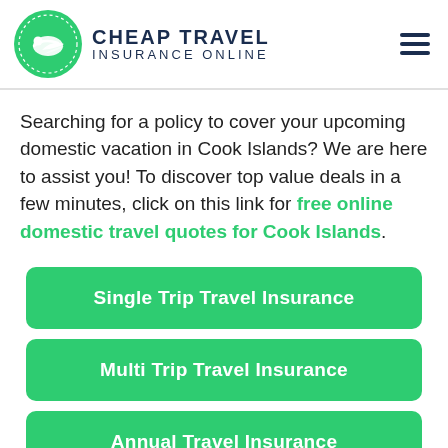[Figure (logo): Cheap Travel Insurance Online logo with green circle containing a traveler silhouette and airplane, beside bold dark navy text reading CHEAP TRAVEL INSURANCE ONLINE]
Searching for a policy to cover your upcoming domestic vacation in Cook Islands? We are here to assist you! To discover top value deals in a few minutes, click on this link for free online domestic travel quotes for Cook Islands.
Single Trip Travel Insurance
Multi Trip Travel Insurance
Annual Travel Insurance